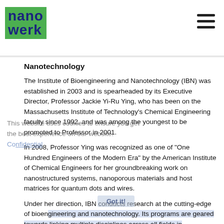nanowerk
Nanotechnology
The Institute of Bioengineering and Nanotechnology (IBN) was established in 2003 and is spearheaded by its Executive Director, Professor Jackie Yi-Ru Ying, who has been on the Massachusetts Institute of Technology's Chemical Engineering faculty since 1992, and was among the youngest to be promoted to Professor in 2001.
In 2008, Professor Ying was recognized as one of "One Hundred Engineers of the Modern Era" by the American Institute of Chemical Engineers for her groundbreaking work on nanostructured systems, nanoporous materials and host matrices for quantum dots and wires.
Under her direction, IBN conducts research at the cutting-edge of bioengineering and nanotechnology. Its programs are geared towards linking multiple disciplines across all fields in engineering, science and